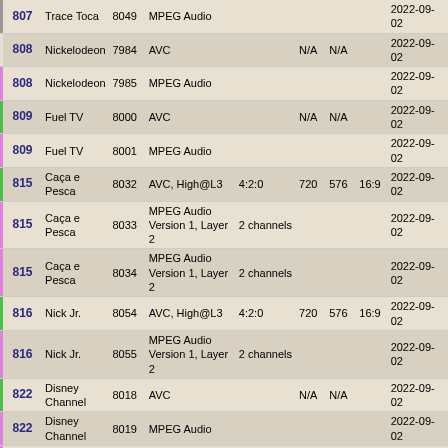|  | Ch | Name | PID | Type | Pix | W | H | AR | Date |
| --- | --- | --- | --- | --- | --- | --- | --- | --- | --- |
|  | 807 | Trace Toca | 8049 | MPEG Audio |  |  |  |  | 2022-09-02 |
|  | 808 | Nickelodeon | 7984 | AVC |  | N/A | N/A |  | 2022-09-02 |
|  | 808 | Nickelodeon | 7985 | MPEG Audio |  |  |  |  | 2022-09-02 |
|  | 809 | Fuel TV | 8000 | AVC |  | N/A | N/A |  | 2022-09-02 |
|  | 809 | Fuel TV | 8001 | MPEG Audio |  |  |  |  | 2022-09-02 |
|  | 815 | Caça e Pesca | 8032 | AVC, High@L3 | 4:2:0 | 720 | 576 | 16:9 | 2022-09-02 |
|  | 815 | Caça e Pesca | 8033 | MPEG Audio Version 1, Layer 2 | 2 channels |  |  |  | 2022-09-02 |
|  | 815 | Caça e Pesca | 8034 | MPEG Audio Version 1, Layer 2 | 2 channels |  |  |  | 2022-09-02 |
|  | 816 | Nick Jr. | 8054 | AVC, High@L3 | 4:2:0 | 720 | 576 | 16:9 | 2022-09-02 |
|  | 816 | Nick Jr. | 8055 | MPEG Audio Version 1, Layer 2 | 2 channels |  |  |  | 2022-09-02 |
|  | 822 | Disney Channel | 8018 | AVC |  | N/A | N/A |  | 2022-09-02 |
|  | 822 | Disney Channel | 8019 | MPEG Audio |  |  |  |  | 2022-09-02 |
|  | 822 | Disney Channel | 8020 | MPEG Audio |  |  |  |  | 2022-09-02 |
|  | 822 | Disney Channel | 8021 | Teletext |  |  |  |  | 2022-09-02 |
|  | 825 | Globo Now | 6154 | AVC |  | N/A | N/A |  | 2022-09-02 |